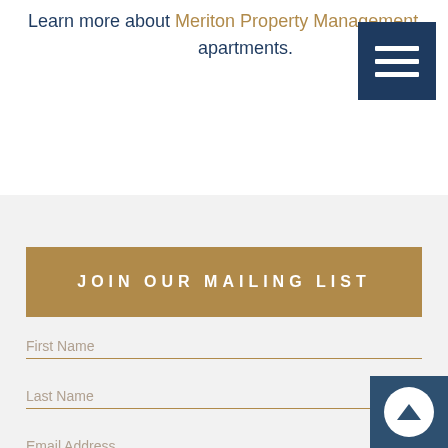Learn more about Meriton Property Management apartments.
[Figure (other): Dark navy blue hamburger menu button with three white horizontal bars]
JOIN OUR MAILING LIST
First Name
Last Name
Email Address
Phone Number
[Figure (other): Scroll to top button: dark blue square with white circle containing upward arrow]